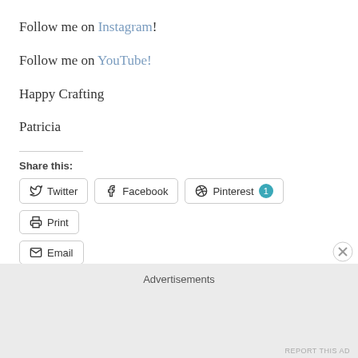Follow me on Instagram!
Follow me on YouTube!
Happy Crafting
Patricia
Share this:
Twitter
Facebook
Pinterest 1
Print
Email
Advertisements
REPORT THIS AD